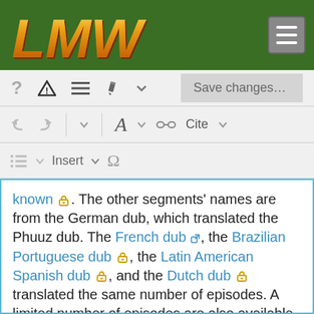[Figure (screenshot): LMW wiki editor toolbar screenshot showing logo, toolbar icons (question mark, warning triangle, hamburger menu, pencil, chevron, save changes button), undo/redo, font, link, cite, list, insert, omega controls, and a text editing area with blue border.]
known 🔒. The other segments' names are from the German dub, which translated the Phuuz dub. The French dub 🔗, the Brazilian Portuguese dub 🔒, the Latin American Spanish dub 🔒, and the Dutch dub 🔒 translated the same number of episodes. A limited number of episodes are also available from the Brazilian Portuguese, European Portuguese, and Latin American Spanish dubs, which included English title cards, with some of the same known segments. It is commonly believed that Phuuz dubbed 78 episodes